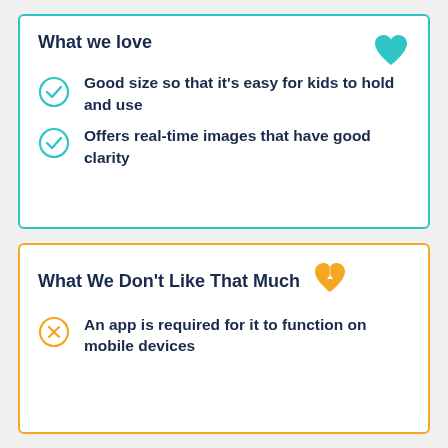What we love
Good size so that it's easy for kids to hold and use
Offers real-time images that have good clarity
What We Don't Like That Much
An app is required for it to function on mobile devices